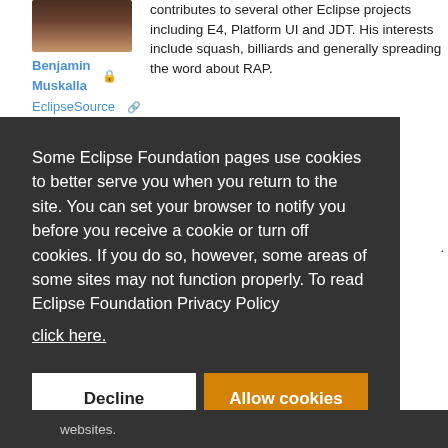[Figure (photo): Profile photo of Benjamin Muskalla showing a person with brown hair against dark background]
Benjamin Muskalla 🔒 EclipseSource 🔗
contributes to several other Eclipse projects including E4, Platform UI and JDT. His interests include squash, billiards and generally spreading the word about RAP.
Some Eclipse Foundation pages use cookies to better serve you when you return to the site. You can set your browser to notify you before you receive a cookie or turn off cookies. If you do so, however, some areas of some sites may not function properly. To read Eclipse Foundation Privacy Policy click here.
Decline
Allow cookies
websites.